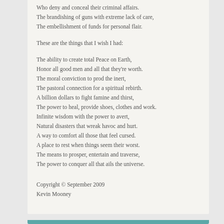Who deny and conceal their criminal affairs.
The brandishing of guns with extreme lack of care,
The embellishment of funds for personal flair.

These are the things that I wish I had:

The ability to create total Peace on Earth,
Honor all good men and all that they're worth.
The moral conviction to prod the inert,
The pastoral connection for a spiritual rebirth.
A billion dollars to fight famine and thirst,
The power to heal, provide shoes, clothes and work.
Infinite wisdom with the power to avert,
Natural disasters that wreak havoc and hurt.
A way to comfort all those that feel cursed.
A place to rest when things seem their worst.
The means to prosper, entertain and traverse,
The power to conquer all that ails the universe.
Copyright © September 2009
Kevin Mooney